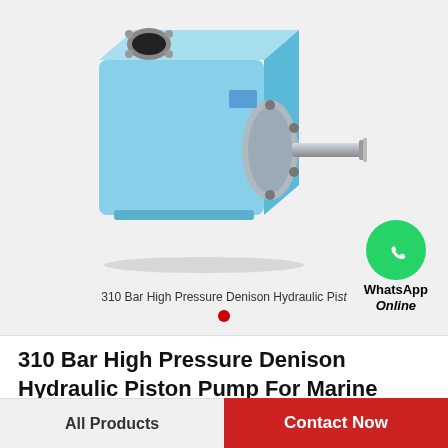[Figure (photo): Light blue Denison hydraulic piston pump with metal shaft and mounting flange on a light gray background. A WhatsApp Online badge is overlaid in the lower right of the image area.]
310 Bar High Pressure Denison Hydraulic Piston Pump For Marine Machine
310 Bar High Pressure Denison Hydraulic Piston Pump For Marine Machine
All Products
Contact Now